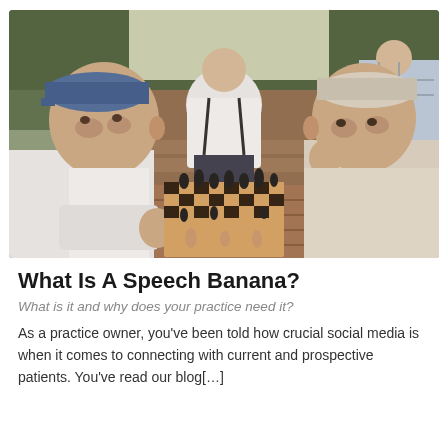[Figure (photo): Two elderly men playing chess outdoors at a wooden picnic table. The man on the left wears a blue cap and white shirt; the man on the right wears a light-colored cap and shirt. A third person is visible from behind in the center background. Chess pieces are arranged on the board between them.]
What Is A Speech Banana?
What is it and why does your practice need it?
As a practice owner, you've been told how crucial social media is when it comes to connecting with current and prospective patients. You've read our blog[…]